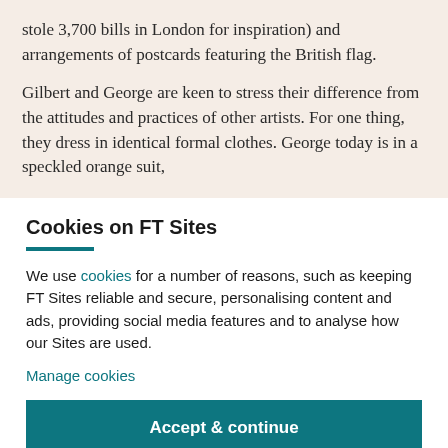stole 3,700 bills in London for inspiration) and arrangements of postcards featuring the British flag.
Gilbert and George are keen to stress their difference from the attitudes and practices of other artists. For one thing, they dress in identical formal clothes. George today is in a speckled orange suit,
Cookies on FT Sites
We use cookies for a number of reasons, such as keeping FT Sites reliable and secure, personalising content and ads, providing social media features and to analyse how our Sites are used.
Manage cookies
Accept & continue